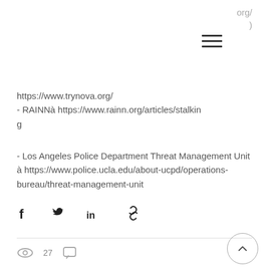org/
https://www.trynova.org/
- RAINNà https://www.rainn.org/articles/stalking
- Los Angeles Police Department Threat Management Unit à https://www.police.ucla.edu/about-ucpd/operations-bureau/threat-management-unit
[Figure (infographic): Social share icons: Facebook, Twitter, LinkedIn, link/copy]
27 views, comment icon, back to top button